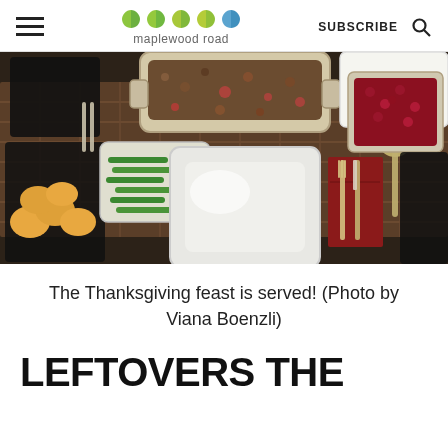maplewood road | SUBSCRIBE
[Figure (photo): A Thanksgiving dinner table set with a white square plate, red napkin, utensils, a casserole dish with stuffing, green beans, cornbread muffins, and cranberry sauce on a woven bamboo placemat.]
The Thanksgiving feast is served! (Photo by Viana Boenzli)
LEFTOVERS THE